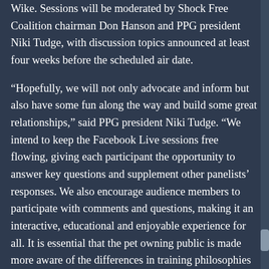Wike. Sessions will be moderated by Shock Free Coalition chairman Don Hanson and PPG president Niki Tudge, with discussion topics announced at least four weeks before the scheduled air date.
“Hopefully, we will not only advocate and inform but also have some fun along the way and build some great relationships,” said PPG president Niki Tudge. “We intend to keep the Facebook Live sessions free flowing, giving each participant the opportunity to answer key questions and supplement other panelists’ responses. We also encourage audience members to participate with comments and questions, making it an interactive, educational and enjoyable experience for all. It is essential that the pet owning public is made more aware of the differences in training philosophies amongst pet professionals to ensure they can make the best decisions for themselves, their pets, and their families. We aim to address that need.”